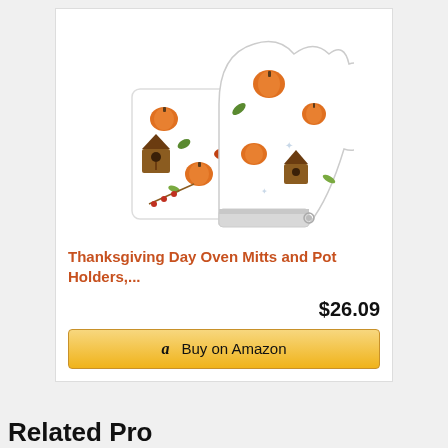[Figure (photo): Thanksgiving-themed oven mitts and pot holders with autumn/fall pattern featuring pumpkins, leaves, mushrooms, and birdhouses on white background]
Thanksgiving Day Oven Mitts and Pot Holders,...
$26.09
Buy on Amazon
Related Products